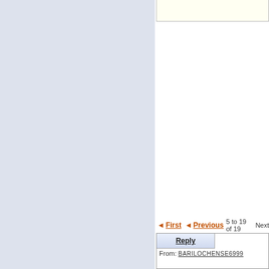[Figure (screenshot): Screenshot of a web forum interface showing navigation controls (First, Previous, '5 to 19 of 19', Next), a Reply tab, a From field showing BARILOCHENSE6999, and a partial blue banner image with yellow text reading 'DETE' and 'Modelo' and blue bold text '•Cualquier a físico, respo dada lo c']
From: BARILOCHENSE6999
◄ First  ◄ Previous  5 to 19 of 19  Next
Reply
DETE
Modelo
•Cualquier a físico, respo dada lo c